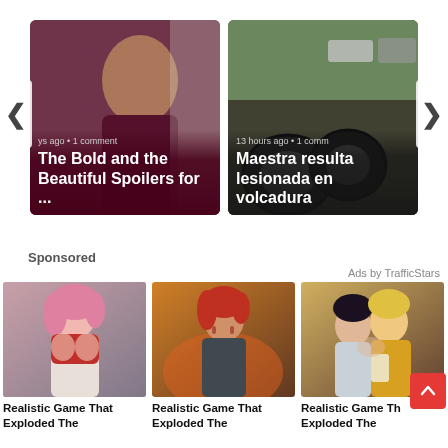[Figure (photo): News carousel card: man in dark shirt with text overlay 'The Bold and the Beautiful Spoilers for ...' and meta 'ys ago • 1 comment']
[Figure (photo): News carousel card: overturned car tires at accident scene with text overlay 'Maestra resulta lesionada en volcadura' and meta '13 hours ago • 1 comm']
Sponsored
Ads by TrafficStars
[Figure (illustration): Anime-style illustration of pink-haired female character]
Realistic Game That Exploded The
[Figure (illustration): Anime-style illustration of red-haired character in fiery orange background]
Realistic Game That Exploded The
[Figure (illustration): Anime-style illustration of two characters embracing]
Realistic Game Th Exploded The